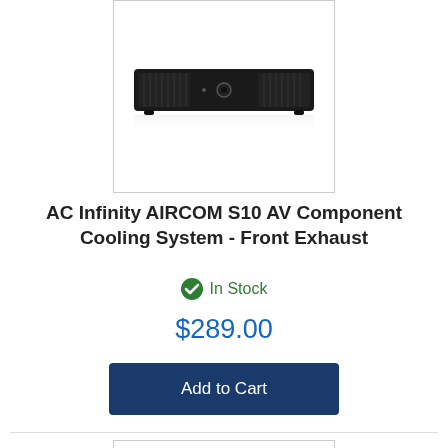[Figure (photo): AC Infinity AIRCOM S10 AV Component Cooling System device photo — a slim black horizontal unit with front vents, a center button, and small rubber feet, on a white background inside a bordered box]
AC Infinity AIRCOM S10 AV Component Cooling System - Front Exhaust
In Stock
$289.00
Add to Cart
[Figure (photo): Partial product image box at bottom of page (cropped)]